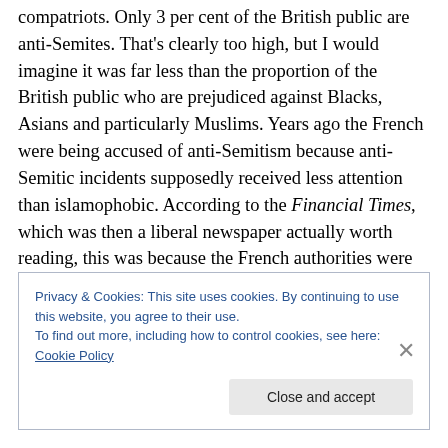compatriots. Only 3 per cent of the British public are anti-Semites. That's clearly too high, but I would imagine it was far less than the proportion of the British public who are prejudiced against Blacks, Asians and particularly Muslims. Years ago the French were being accused of anti-Semitism because anti-Semitic incidents supposedly received less attention than islamophobic. According to the Financial Times, which was then a liberal newspaper actually worth reading, this was because the French authorities were more concerned about the much higher level of prejudice against Muslims. Only five per cent of
Privacy & Cookies: This site uses cookies. By continuing to use this website, you agree to their use.
To find out more, including how to control cookies, see here: Cookie Policy
Close and accept